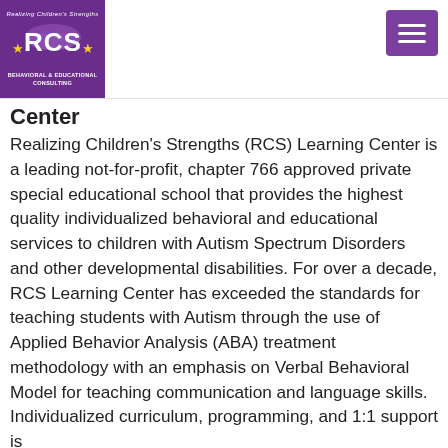[Figure (logo): RCS Behavioral & Educational Consulting logo — purple square with stars and hands motif, text RCS]
Center
Realizing Children's Strengths (RCS) Learning Center is a leading not-for-profit, chapter 766 approved private special educational school that provides the highest quality individualized behavioral and educational services to children with Autism Spectrum Disorders and other developmental disabilities. For over a decade, RCS Learning Center has exceeded the standards for teaching students with Autism through the use of Applied Behavior Analysis (ABA) treatment methodology with an emphasis on Verbal Behavioral Model for teaching communication and language skills. Individualized curriculum, programming, and 1:1 support is